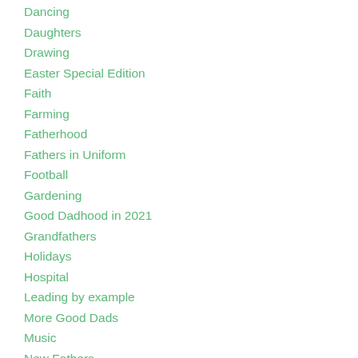Dancing
Daughters
Drawing
Easter Special Edition
Faith
Farming
Fatherhood
Fathers in Uniform
Football
Gardening
Good Dadhood in 2021
Grandfathers
Holidays
Hospital
Leading by example
More Good Dads
Music
New Fathers